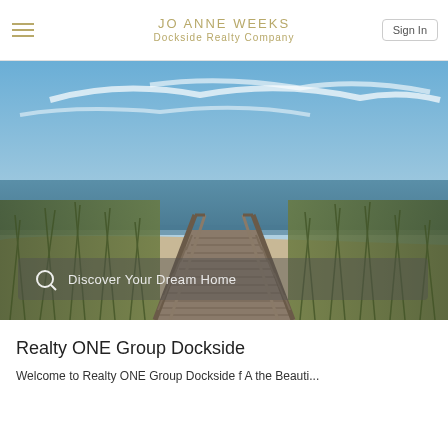JO ANNE WEEKS
Dockside Realty Company
[Figure (photo): Wooden boardwalk leading to the beach with ocean in background, flanked by sea grass and wooden railings under a blue sky with wispy clouds. Contains a search bar overlay with text 'Discover Your Dream Home'.]
Realty ONE Group Dockside
Welcome to Realty ONE Group Dockside f A the Beauti...